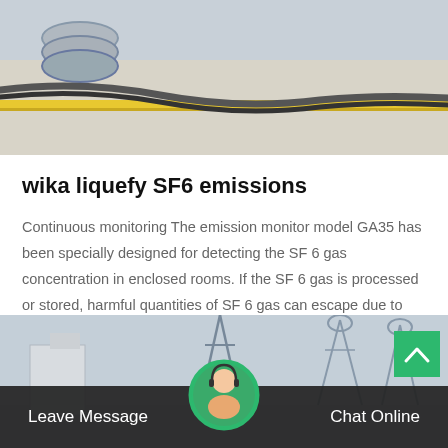[Figure (photo): Industrial pipes and cables on a concrete surface with yellow markings, aerial/ground-level industrial scene]
wika liquefy SF6 emissions
Continuous monitoring The emission monitor model GA35 has been specially designed for detecting the SF 6 gas concentration in enclosed rooms. If the SF 6 gas is processed or stored, harmful quantities of SF 6 gas can escape due to improper operation or…
[Figure (other): Get Price button - green outlined button]
[Figure (photo): Industrial electrical infrastructure with towers/pylons and buildings, with a chat support overlay bar at bottom showing Leave Message and Chat Online options with customer service agent avatar]